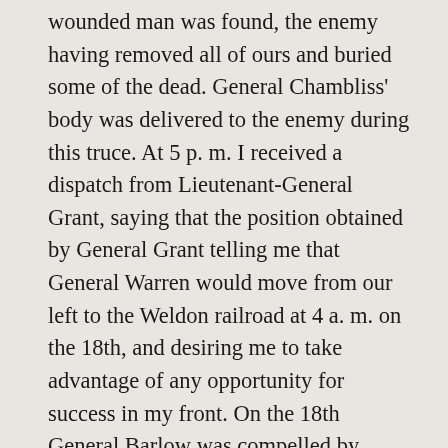wounded man was found, the enemy having removed all of ours and buried some of the dead. General Chambliss' body was delivered to the enemy during this truce. At 5 p. m. I received a dispatch from Lieutenant-General Grant, saying that the position obtained by General Grant telling me that General Warren would move from our left to the Weldon railroad at 4 a. m. on the 18th, and desiring me to take advantage of any opportunity for success in my front. On the 18th General Barlow was compelled by sickness to give up the command of his division to General Miles. This day passed with skirmishing and reconnoitering the enemy's position until 5.30 p. m., when the enemy came out of their works above Fussell's Mill and attacked General Birney. The fight lasted about thirty minutes, when the enemy were repulsed with considerable loss. General Miles, with the First and Fourth Brigades of his command, took